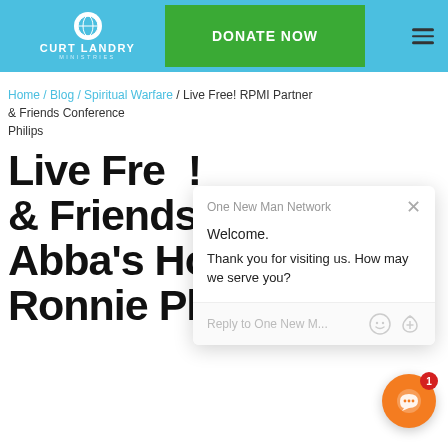CURT LANDRY MINISTRIES — DONATE NOW
Home / Blog / Spiritual Warfare / Live Free! RPMI Partner & Friends Conference Philips
Live Free! & Friends Abba's House with Ronnie Philips
[Figure (screenshot): Chat popup from One New Man Network with message: Welcome. Thank you for visiting us. How may we serve you? With reply input field and emoji/attachment icons.]
[Figure (other): Orange circular chat button with smiley face icon and red badge showing number 1]